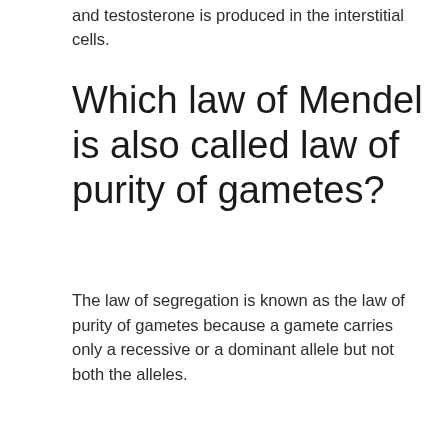and testosterone is produced in the interstitial cells.
Which law of Mendel is also called law of purity of gametes?
The law of segregation is known as the law of purity of gametes because a gamete carries only a recessive or a dominant allele but not both the alleles.
Which law is based on Dihybrid cross?
In 1865, Gregor Mendel performed dihybrid crosses on pea plants and discovered a